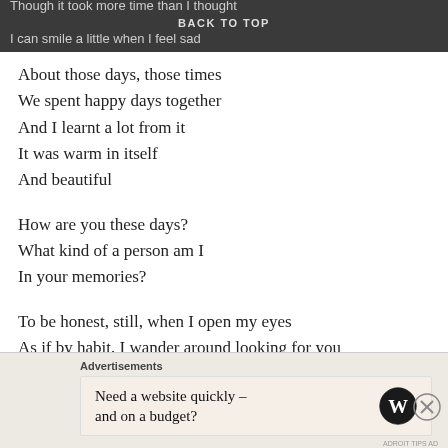Though it took more time than I thought
BACK TO TOP
I can smile a little when I feel sad
About those days, those times
We spent happy days together
And I learnt a lot from it
It was warm in itself
And beautiful

How are you these days?
What kind of a person am I
In your memories?

To be honest, still, when I open my eyes
As if by habit, I wander around looking for you
Only to wipe away my tears
Advertisements
Need a website quickly –
and on a budget?